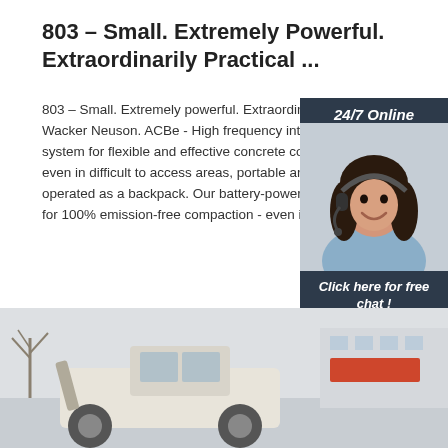803 – Small. Extremely Powerful. Extraordinarily Practical ...
803 – Small. Extremely powerful. Extraordinarily practical from Wacker Neuson. ACBe - High frequency internal vibrator system for flexible and effective concrete construction - used even in difficult to access areas, portable and lightweight, operated as a backpack. Our battery-powered solutions allow for 100% emission-free compaction - even ind
[Figure (photo): Chat widget with woman wearing headset smiling, with '24/7 Online' header, 'Click here for free chat!' text, and orange QUOTATION button]
[Figure (photo): Bottom photograph showing a construction vehicle or loader in an outdoor industrial setting with buildings and bare trees in the background, in muted winter colors]